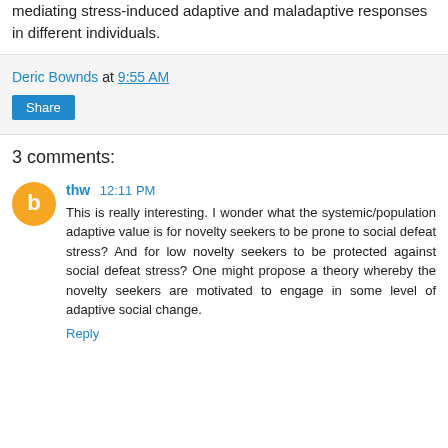strengthen the importance of epigenetic factors in mediating stress-induced adaptive and maladaptive responses in different individuals.
Deric Bownds at 9:55 AM
Share
3 comments:
thw 12:11 PM
This is really interesting. I wonder what the systemic/population adaptive value is for novelty seekers to be prone to social defeat stress? And for low novelty seekers to be protected against social defeat stress? One might propose a theory whereby the novelty seekers are motivated to engage in some level of adaptive social change.
Reply